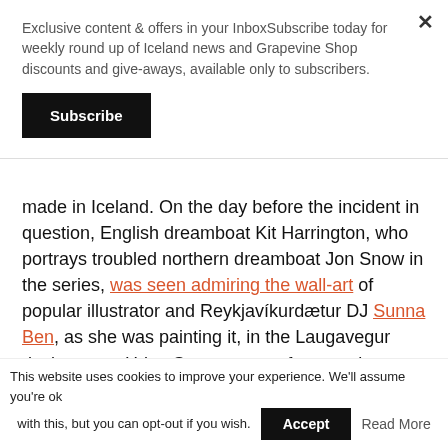Exclusive content & offers in your InboxSubscribe today for weekly round up of Iceland news and Grapevine Shop discounts and give-aways, available only to subscribers.
Subscribe
made in Iceland. On the day before the incident in question, English dreamboat Kit Harrington, who portrays troubled northern dreamboat Jon Snow in the series, was seen admiring the wall-art of popular illustrator and Reykjavíkurdætur DJ Sunna Ben, as she was painting it, in the Laugavegur design store Hrim. Sunna was unfortunately wearing headphones and in the zone, so she didn't notice him. This understandably
This website uses cookies to improve your experience. We'll assume you're ok with this, but you can opt-out if you wish. Accept Read More